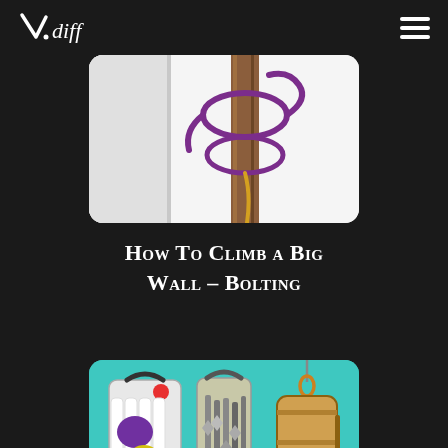V.diff (logo) — hamburger menu
[Figure (illustration): Partial illustration showing a rope looped around a wooden stake/bolt against a white background, with a purple rope visible]
How To Climb a Big Wall – Bolting
[Figure (illustration): Illustration on teal/turquoise background showing three climbing big wall items: a bag with colorful gear, a haul bag with gear hanging, and a portaledge or hanging bag with carabiners]
How To Climb a Big Wall – Packing the